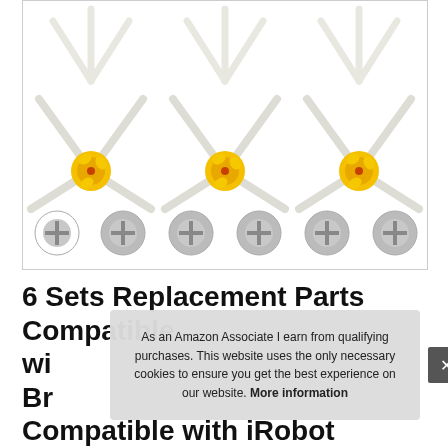[Figure (photo): Product photo showing 6 side brush replacements with yellow hubs and white bristles arranged in two rows of 3, plus 6 screws shown below them, all on white background inside a bordered box.]
6 Sets Replacement Parts Compatible wi... Br... Compatible with iRobot Roomba 600
As an Amazon Associate I earn from qualifying purchases. This website uses the only necessary cookies to ensure you get the best experience on our website. More information